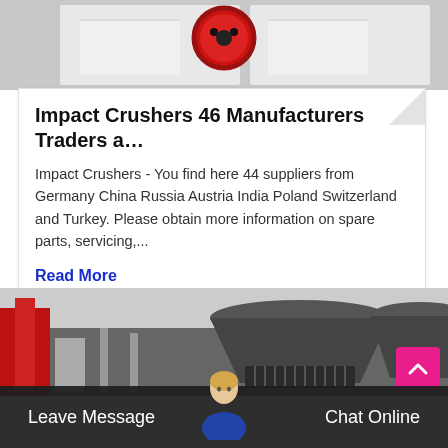[Figure (photo): Close-up photo of a red and white impact crusher mechanical part with circular gear/wheel visible]
Impact Crushers 46 Manufacturers Traders a…
Impact Crushers - You find here 44 suppliers from Germany China Russia Austria India Poland Switzerland and Turkey. Please obtain more information on spare parts, servicing,...
Read More
[Figure (photo): Black and white photo of industrial cone crushers in a row with red accents, showing industrial spring-loaded machinery]
Leave Message  Chat Online